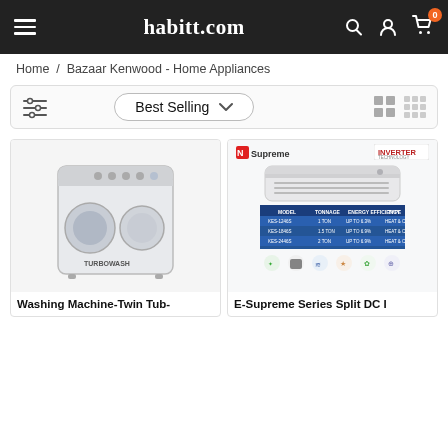habitt.com
Home / Bazaar Kenwood - Home Appliances
Best Selling
[Figure (photo): Washing Machine Twin Tub product image]
[Figure (photo): E-Supreme Series Split DC Inverter AC product image with specifications table and feature icons]
Washing Machine-Twin Tub-
E-Supreme Series Split DC I